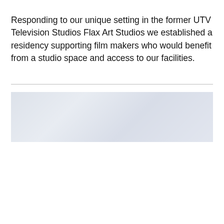Responding to our unique setting in the former UTV Television Studios Flax Art Studios we established a residency supporting film makers who would benefit from a studio space and access to our facilities.
[Figure (photo): A light-colored, pale blue-grey photograph, likely showing an interior or exterior scene, washed out and low contrast.]